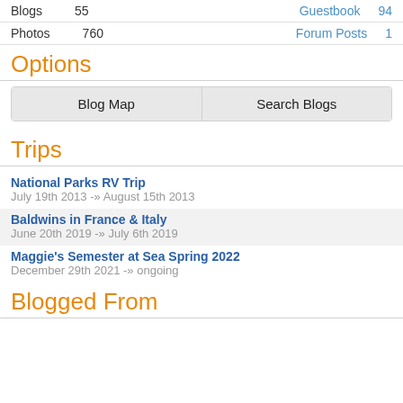| Blogs | 55 | Guestbook | 94 |
| Photos | 760 | Forum Posts | 1 |
Options
Blog Map | Search Blogs
Trips
National Parks RV Trip
July 19th 2013 -» August 15th 2013
Baldwins in France & Italy
June 20th 2019 -» July 6th 2019
Maggie's Semester at Sea Spring 2022
December 29th 2021 -» ongoing
Blogged From